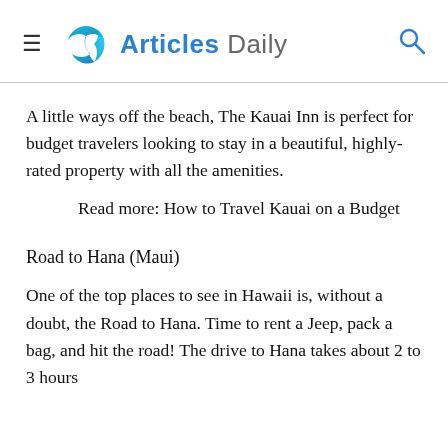Articles Daily
A little ways off the beach, The Kauai Inn is perfect for budget travelers looking to stay in a beautiful, highly-rated property with all the amenities.
Read more: How to Travel Kauai on a Budget
Road to Hana (Maui)
One of the top places to see in Hawaii is, without a doubt, the Road to Hana. Time to rent a Jeep, pack a bag, and hit the road! The drive to Hana takes about 2 to 3 hours